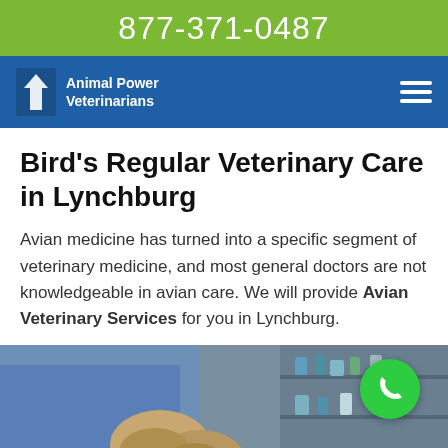877-371-0487
Animal Power Veterinarians
Bird's Regular Veterinary Care in Lynchburg
Avian medicine has turned into a specific segment of veterinary medicine, and most general doctors are not knowledgeable in avian care. We will provide Avian Veterinary Services for you in Lynchburg.
[Figure (photo): A veterinarian in blue scrubs and gloves treating a white bird (likely a duck or similar avian) on an examination table, with medical supplies visible in the background.]